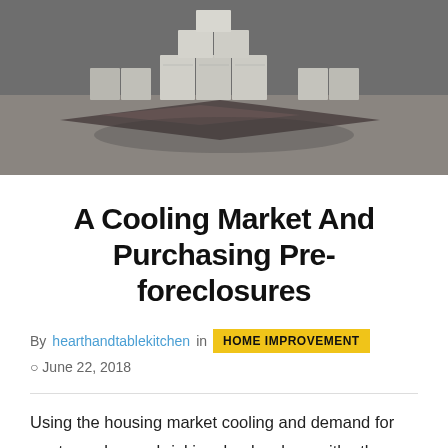[Figure (photo): Warehouse interior with stacked boxes/products arranged on a concrete floor with mats]
A Cooling Market And Purchasing Pre-foreclosures
By hearthandtablekitchen in HOME IMPROVEMENT  June 22, 2018
Using the housing market cooling and demand for mortgage loans shrinking, banks along with other lenders are embracing nontraditional and sometimes riskier mortgage loans to create additional business and compete their loans off books on. More tender and